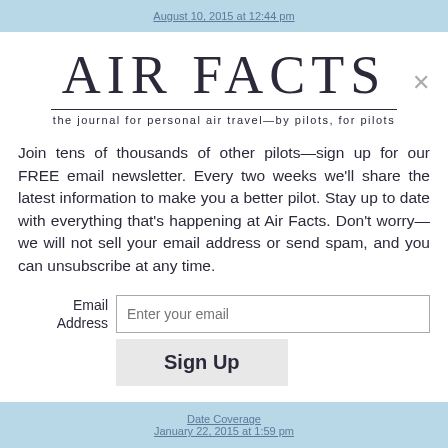August 10, 2015 at 12:44 pm
AIR FACTS
the journal for personal air travel—by pilots, for pilots
Join tens of thousands of other pilots—sign up for our FREE email newsletter. Every two weeks we'll share the latest information to make you a better pilot. Stay up to date with everything that's happening at Air Facts. Don't worry—we will not sell your email address or send spam, and you can unsubscribe at any time.
Email Address [input: Enter your email] Sign Up
Date Coverage
January 22, 2015 at 1:59 pm